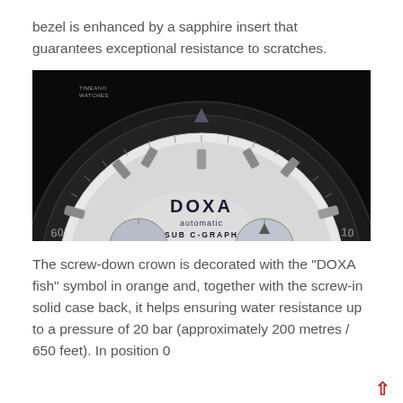bezel is enhanced by a sapphire insert that guarantees exceptional resistance to scratches.
[Figure (photo): Close-up macro photograph of a DOXA automatic SUB C-GRAPH watch dial and bezel. The watch face shows hour markers, a white/silver dial with DOXA automatic SUB C-GRAPH text, sub-dials, and a black rotating diver's bezel with a downward-pointing triangle marker. Small watermark text reads 'Timeano Watches' in the upper left.]
The screw-down crown is decorated with the "DOXA fish" symbol in orange and, together with the screw-in solid case back, it helps ensuring water resistance up to a pressure of 20 bar (approximately 200 metres / 650 feet). In position 0